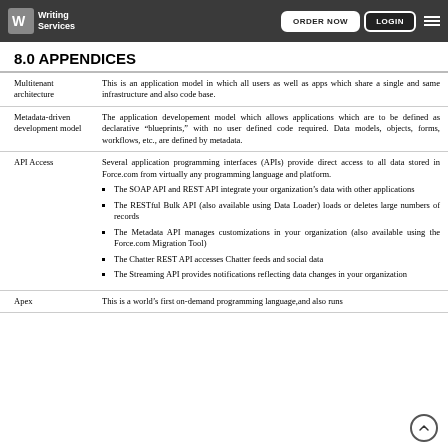Writing Services | ORDER NOW | LOGIN
8.0 APPENDICES
| Term | Definition |
| --- | --- |
| Multitenant architecture | This is an application model in which all users as well as apps which share a single and same infrastructure and also code base. |
| Metadata-driven development model | The application developement model which allows applications which are to be defined as declarative "blueprints," with no user defined code required. Data models, objects, forms, workflows, etc., are defined by metadata. |
| API Access | Several application programming interfaces (APIs) provide direct access to all data stored in Force.com from virtually any programming language and platform.
• The SOAP API and REST API integrate your organization's data with other applications
• The RESTful Bulk API (also available using Data Loader) loads or deletes large numbers of records
• The Metadata API manages customizations in your organization (also available using the Force.com Migration Tool)
• The Chatter REST API accesses Chatter feeds and social data
• The Streaming API provides notifications reflecting data changes in your organization |
| Apex | This is a world's first on-demand programming language, and also runs ... |